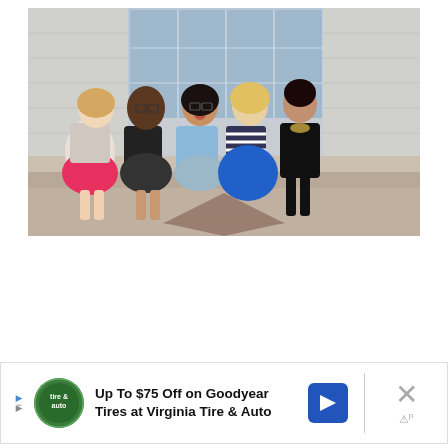[Figure (photo): Five women sitting on steps in front of a large building with a tall window, laughing and smiling together. They are dressed in casual/smart-casual attire with colorful outfits including a pink skirt, blue dress, and black and white stripes.]
Up To $75 Off on Goodyear Tires at Virginia Tire & Auto